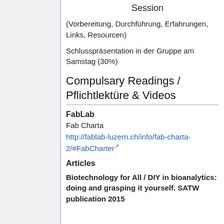Session
(Vorbereitung, Durchführung, Erfahrungen, Links, Resourcen)
Schlusspräsentation in der Gruppe am Samstag (30%)
Compulsary Readings / Pflichtlektüre & Videos
FabLab
Fab Charta
http://fablab-luzern.ch/info/fab-charta-2/#FabCharter
Articles
Biotechnology for All / DIY in bioanalytics: doing and grasping it yourself. SATW publication 2015